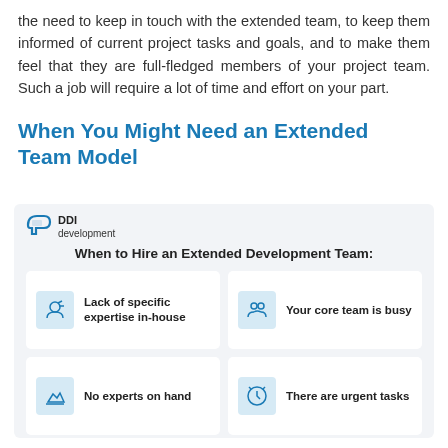the need to keep in touch with the extended team, to keep them informed of current project tasks and goals, and to make them feel that they are full-fledged members of your project team. Such a job will require a lot of time and effort on your part.
When You Might Need an Extended Team Model
[Figure (infographic): DDI Development infographic titled 'When to Hire an Extended Development Team:' with four cards: 'Lack of specific expertise in-house', 'Your core team is busy', 'No experts on hand', 'There are urgent tasks']